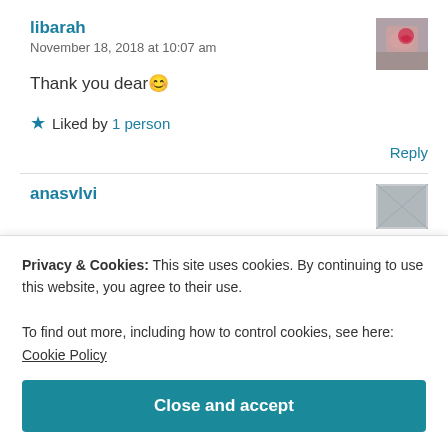libarah
November 18, 2018 at 10:07 am
[Figure (photo): User avatar photo for libarah]
Thank you dear 😊
★ Liked by 1 person
Reply
anasvlvi
[Figure (photo): User avatar photo for anasvlvi]
Privacy & Cookies: This site uses cookies. By continuing to use this website, you agree to their use.
To find out more, including how to control cookies, see here: Cookie Policy
Close and accept